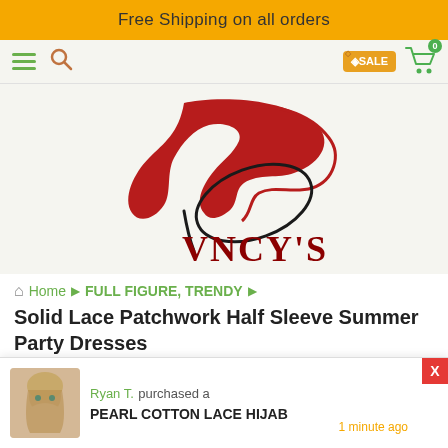Free Shipping on all orders
[Figure (logo): VNCY'S logo with red decorative swoosh/bird shape and black oval, with text VNCY'S in dark red]
Home ▶ FULL FIGURE, TRENDY ▶
Solid Lace Patchwork Half Sleeve Summer Party Dresses
Ryan T. purchased a PEARL COTTON LACE HIJAB 1 minute ago